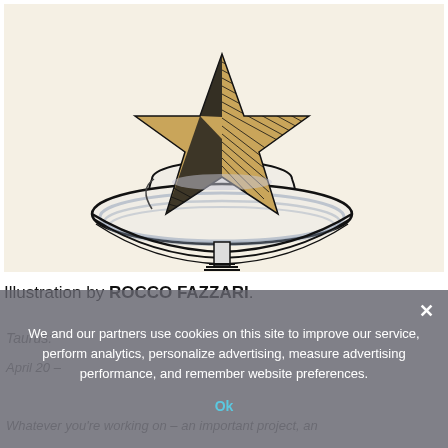[Figure (illustration): Ink and watercolor illustration of a star (five-pointed, gold/tan with black hatching and shading) sitting atop a white cowboy hat on a pedestal. The illustration is in black ink line-art style with golden-tan fill and blue-grey shading on the hat brim.]
Illustration by ROCCO FAZZARI.
We and our partners use cookies on this site to improve our service, perform analytics, personalize advertising, measure advertising performance, and remember website preferences.